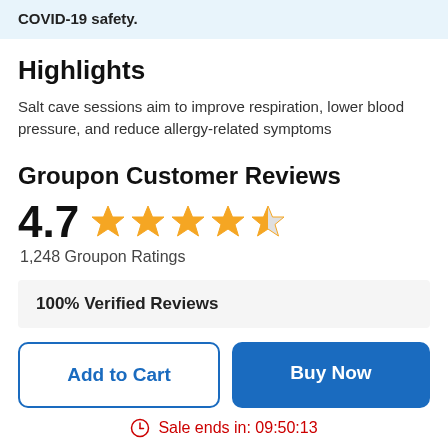COVID-19 safety.
Highlights
Salt cave sessions aim to improve respiration, lower blood pressure, and reduce allergy-related symptoms
Groupon Customer Reviews
4.7  ★★★★½  1,248 Groupon Ratings
100% Verified Reviews
Add to Cart
Buy Now
Sale ends in: 09:50:13